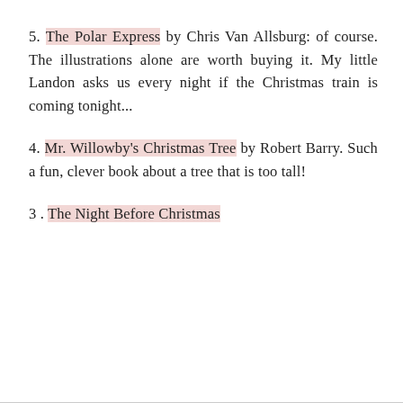5. The Polar Express by Chris Van Allsburg: of course. The illustrations alone are worth buying it. My little Landon asks us every night if the Christmas train is coming tonight...
4. Mr. Willowby's Christmas Tree by Robert Barry. Such a fun, clever book about a tree that is too tall!
3 . The Night Before Christmas